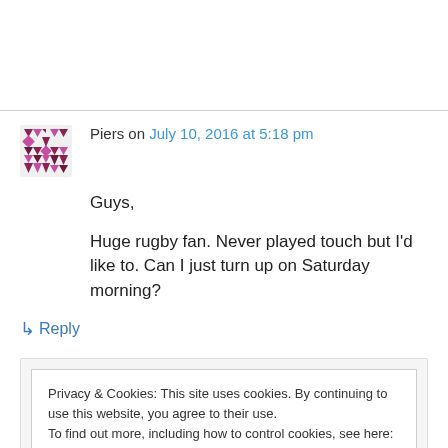Piers on July 10, 2016 at 5:18 pm
Guys,

Huge rugby fan. Never played touch but I'd like to. Can I just turn up on Saturday morning?
↳ Reply
Privacy & Cookies: This site uses cookies. By continuing to use this website, you agree to their use.
To find out more, including how to control cookies, see here: Cookie Policy
Close and accept
very helpful if you subscribe to follow this